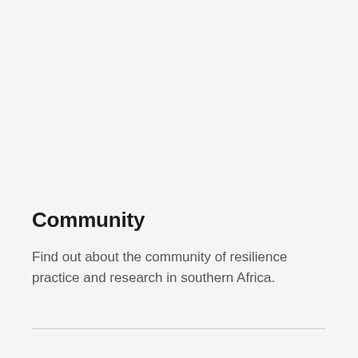Community
Find out about the community of resilience practice and research in southern Africa.